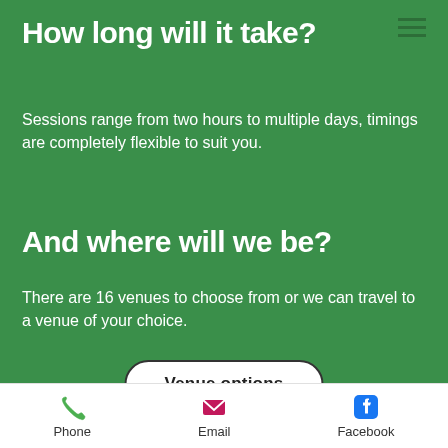How long will it take?
Sessions range from two hours to multiple days, timings are completely flexible to suit you.
And where will we be?
There are 16 venues to choose from or we can travel to a venue of your choice.
Venue options
What people say
Phone  Email  Facebook